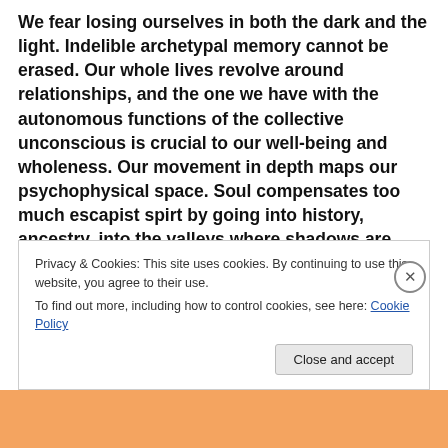We fear losing ourselves in both the dark and the light. Indelible archetypal memory cannot be erased. Our whole lives revolve around relationships, and the one we have with the autonomous functions of the collective unconscious is crucial to our well-being and wholeness. Our movement in depth maps our psychophysical space. Soul compensates too much escapist spirt by going into history, ancestry, into the valleys where shadows are cast and languish in the unconscious. We learn to work with our wounds in
Privacy & Cookies: This site uses cookies. By continuing to use this website, you agree to their use.
To find out more, including how to control cookies, see here: Cookie Policy
Close and accept